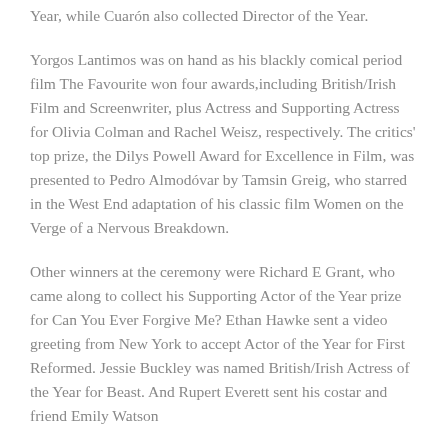Year, while Cuarón also collected Director of the Year.
Yorgos Lantimos was on hand as his blackly comical period film The Favourite won four awards,including British/Irish Film and Screenwriter, plus Actress and Supporting Actress for Olivia Colman and Rachel Weisz, respectively. The critics' top prize, the Dilys Powell Award for Excellence in Film, was presented to Pedro Almodóvar by Tamsin Greig, who starred in the West End adaptation of his classic film Women on the Verge of a Nervous Breakdown.
Other winners at the ceremony were Richard E Grant, who came along to collect his Supporting Actor of the Year prize for Can You Ever Forgive Me? Ethan Hawke sent a video greeting from New York to accept Actor of the Year for First Reformed. Jessie Buckley was named British/Irish Actress of the Year for Beast. And Rupert Everett sent his costar and friend Emily Watson